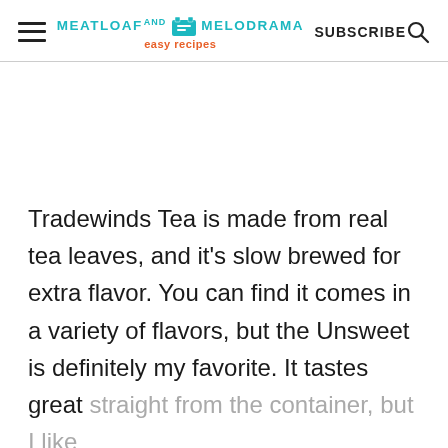MEATLOAF AND MELODRAMA easy recipes | SUBSCRIBE
Tradewinds Tea is made from real tea leaves, and it's slow brewed for extra flavor. You can find it comes in a variety of flavors, but the Unsweet is definitely my favorite. It tastes great straight from the container, but I like to add a fresh lemon slice or two. It